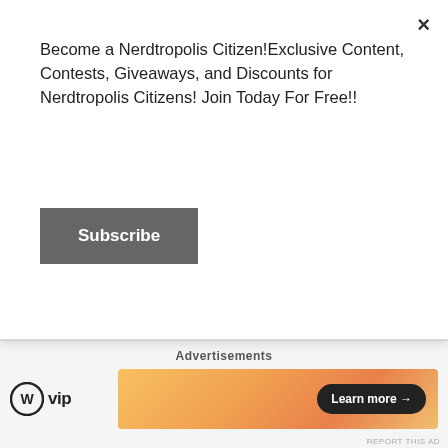Become a Nerdtropolis Citizen!Exclusive Content, Contests, Giveaways, and Discounts for Nerdtropolis Citizens! Join Today For Free!!
Subscribe
[Figure (photo): Hockey players in green and yellow uniforms standing on ice with sticks]
The Mighty Ducks: Game Changers Season Two – Trailer
[Figure (photo): Man with dark hair outdoors in a field, wearing dark jacket]
Advertisements
[Figure (logo): WordPress VIP logo — WP circle icon followed by 'vip' text]
[Figure (infographic): Orange/peach gradient advertisement banner with 'Learn more →' button]
REPORT THIS AD